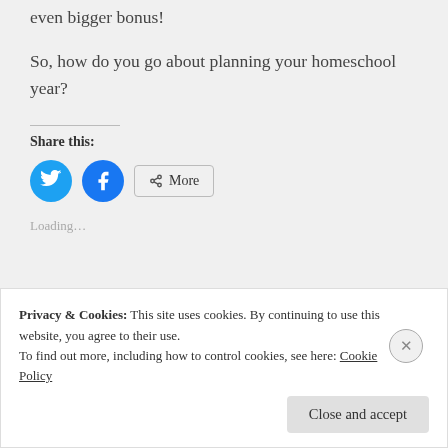even bigger bonus!
So, how do you go about planning your homeschool year?
Share this:
[Figure (other): Twitter and Facebook share buttons plus a More button]
Loading...
Privacy & Cookies: This site uses cookies. By continuing to use this website, you agree to their use.
To find out more, including how to control cookies, see here: Cookie Policy
Close and accept